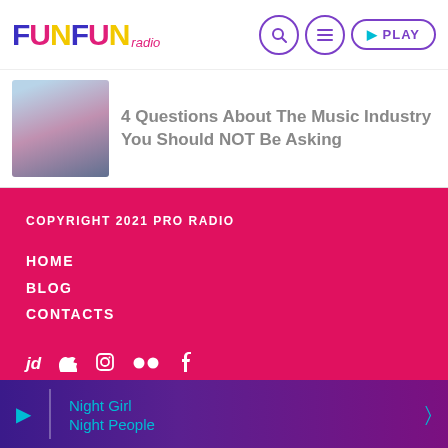FunFun radio — navigation header with search, menu, and play buttons
4 Questions About The Music Industry You Should NOT Be Asking
[Figure (photo): Thumbnail photo of a woman in a denim jacket]
COPYRIGHT 2021 PRO RADIO
HOME
BLOG
CONTACTS
[Figure (infographic): Social media icons: jd, Apple, Instagram, Flickr, Facebook]
Night Girl / Night People — player bar